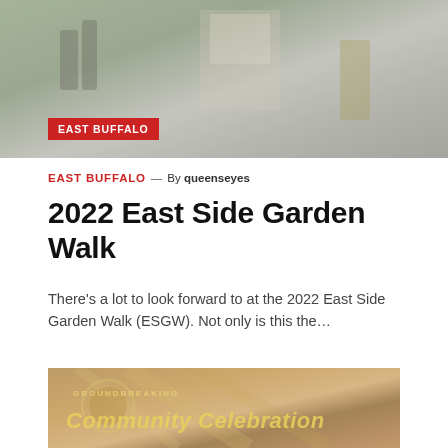[Figure (photo): Outdoor scene with people near garden signs, including a sign reading 10AM-3PM, muted/faded color tones]
EAST BUFFALO
EAST BUFFALO — By queenseyes
2022 East Side Garden Walk
There's a lot to look forward to at the 2022 East Side Garden Walk (ESGW). Not only is this the…
[Figure (photo): Community celebration banner or sign with text 'Community Celebration' in yellow/gold italic text on a muted brown/orange background]